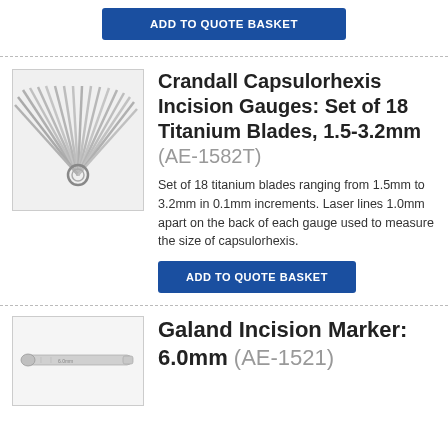ADD TO QUOTE BASKET
[Figure (photo): Crandall Capsulorhexis Incision Gauges: a fan of 18 titanium blades held together by a metal ring]
Crandall Capsulorhexis Incision Gauges: Set of 18 Titanium Blades, 1.5-3.2mm (AE-1582T)
Set of 18 titanium blades ranging from 1.5mm to 3.2mm in 0.1mm increments. Laser lines 1.0mm apart on the back of each gauge used to measure the size of capsulorhexis.
ADD TO QUOTE BASKET
[Figure (photo): Galand Incision Marker: 6.0mm surgical instrument, long flat metallic marker tool]
Galand Incision Marker: 6.0mm (AE-1521)